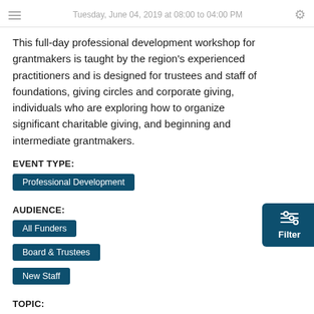Tuesday, June 04, 2019 at 08:00 to 04:00 PM
This full-day professional development workshop for grantmakers is taught by the region's experienced practitioners and is designed for trustees and staff of foundations, giving circles and corporate giving, individuals who are exploring how to organize significant charitable giving, and beginning and intermediate grantmakers.
EVENT TYPE:
Professional Development
AUDIENCE:
All Funders
Board & Trustees
New Staff
TOPIC:
Grantmaking Strategy & Tools